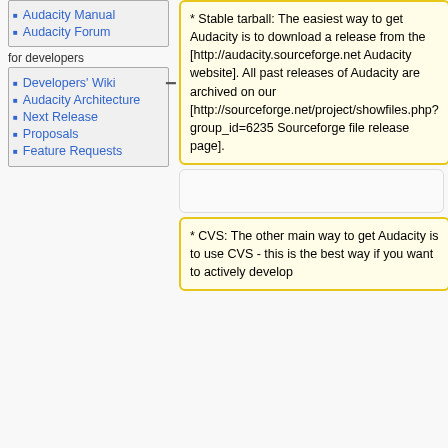Audacity Manual
Audacity Forum
for developers
Developers' Wiki
Audacity Architecture
Next Release
Proposals
Feature Requests
* Stable tarball: The easiest way to get Audacity is to download a release from the [http://audacity.sourceforge.net Audacity website].  All past releases of Audacity are archived on our [http://sourceforge.net/project/showfiles.php?group_id=6235 Sourceforge file release page].
* Stable tarball: The easiest way to get Audacity is to download a release from the {{external|[http://audacity.sourceforge.net Audacity website]}}.  All past releases of Audacity are archived on our {{external|1=[http://sourceforge.net/project/showfiles.php?group_id=6235 Sourceforge file release page]}}.
* CVS: The other main way to get Audacity is to use CVS - this is the best way if you want to actively develop
* CVS: The other main way to get Audacity is to use CVS - this is the best way if you want to actively develop